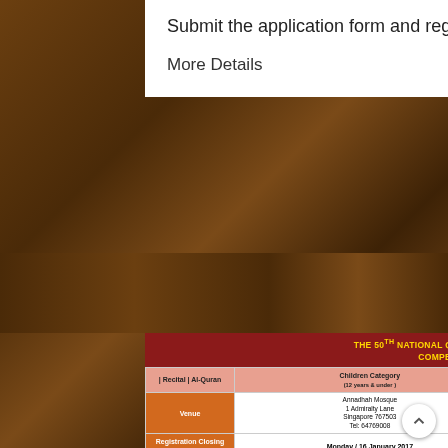Submit the application form and registration fee to Kampung Siglap Mosque only.
More Details
[Figure (other): Flyer for The 50th National Quranic Recital & The 9th Quranic Memorisation Competition, Singapore 2017/1438H. Contains a table with venue details, registration closing dates, semi-final and final dates for different age categories. Also includes a second section for memorisation/Al-Quran category information with venue and dates. Footer notes about awards ceremony and registration fees.]